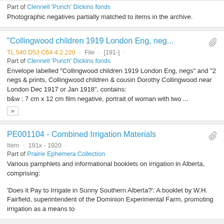Part of Clennell 'Punch' Dickins fonds
Photographic negatives partially matched to items in the archive.
"Collingwood children 1919 London Eng, neg..."
TL 540 D53 C64 4.2.220 · File · [191-] ·
Part of Clennell 'Punch' Dickins fonds
Envelope labelled "Collingwood children 1919 London Eng, negs" and "2 negs & prints, Collingwood children & cousin Dorothy Collingwood near London Dec 1917 or Jan 1918", contains:
b&w ; 7 cm x 12 cm film negative, portrait of woman with two ...
PE001104 - Combined Irrigation Materials
Item · 191x - 1920 ·
Part of Prairie Ephemera Collection
Various pamphlets and informational booklets on irrigation in Alberta, comprising:
'Does it Pay to Irrigate in Sunny Southern Alberta?': A booklet by W.H. Fairfield, superintendent of the Dominion Experimental Farm, promoting irrigation as a means to